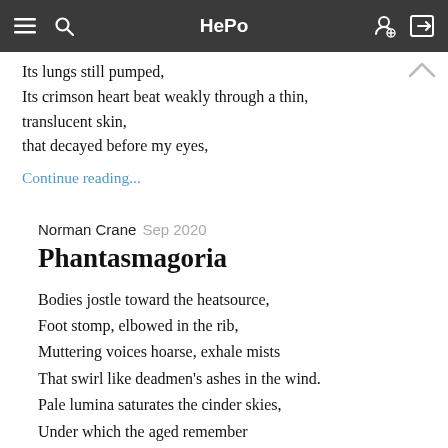HePo
Its lungs still pumped,
Its crimson heart beat weakly through a thin,
translucent skin,
that decayed before my eyes,
Continue reading...
Norman Crane  Sep 2020
Phantasmagoria
Bodies jostle toward the heatsource,
Foot stomp, elbowed in the rib,
Muttering voices hoarse, exhale mists
That swirl like deadmen's ashes in the wind.
Pale lumina saturates the cinder skies,
Under which the aged remember
The suns of former lives,
Continue reading...